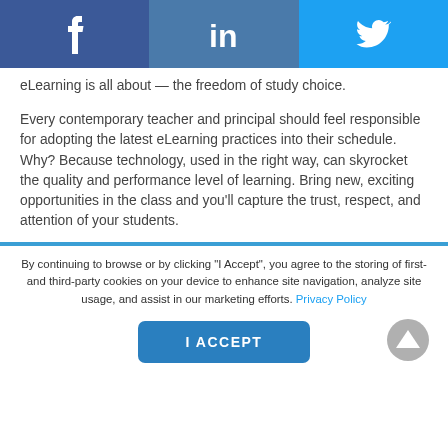[Figure (screenshot): Social media sharing bar with Facebook, LinkedIn, and Twitter icons]
eLearning is all about — the freedom of study choice.
Every contemporary teacher and principal should feel responsible for adopting the latest eLearning practices into their schedule. Why? Because technology, used in the right way, can skyrocket the quality and performance level of learning. Bring new, exciting opportunities in the class and you'll capture the trust, respect, and attention of your students.
By continuing to browse or by clicking "I Accept", you agree to the storing of first- and third-party cookies on your device to enhance site navigation, analyze site usage, and assist in our marketing efforts. Privacy Policy
I ACCEPT